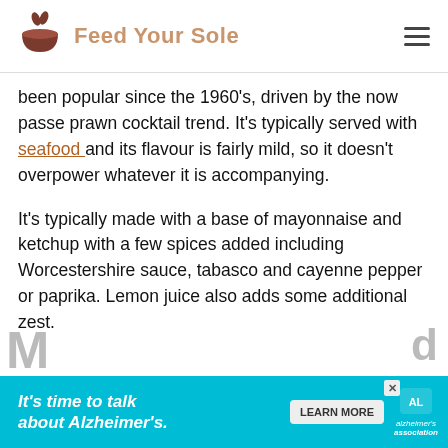[Figure (logo): Feed Your Sole website logo with brown bowl icon and text]
been popular since the 1960's, driven by the now passe prawn cocktail trend. It's typically served with seafood and its flavour is fairly mild, so it doesn't overpower whatever it is accompanying.
It's typically made with a base of mayonnaise and ketchup with a few spices added including Worcestershire sauce, tabasco and cayenne pepper or paprika. Lemon juice also adds some additional zest.
[Figure (infographic): Advertisement banner: It's time to talk about Alzheimer's. LEARN MORE. Alzheimer's Association logo.]